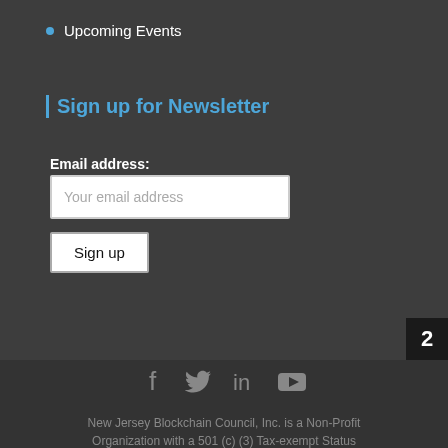Upcoming Events
Sign up for Newsletter
Email address:
Your email address
Sign up
New Jersey Blockchain Council, Inc. is a Non-Profit Organization with a 501 (c) (3) Tax-exempt Status